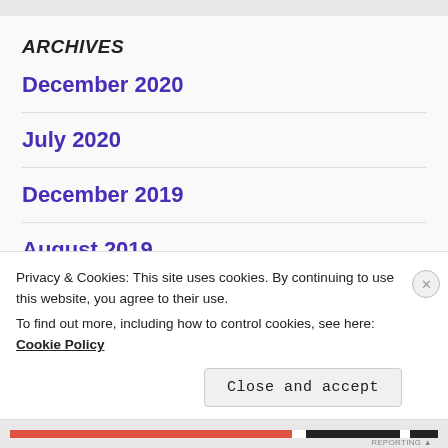ARCHIVES
December 2020
July 2020
December 2019
August 2019
Privacy & Cookies: This site uses cookies. By continuing to use this website, you agree to their use.
To find out more, including how to control cookies, see here: Cookie Policy
Close and accept